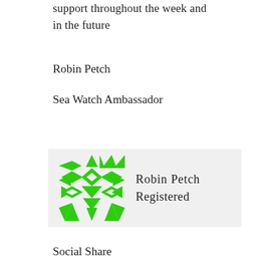support throughout the week and in the future
Robin Petch
Sea Watch Ambassador
[Figure (logo): Sea Watch badge/logo: a green geometric snowflake/star pattern logo with text 'Robin Petch' and 'Registered' on a light grey background]
Social Share